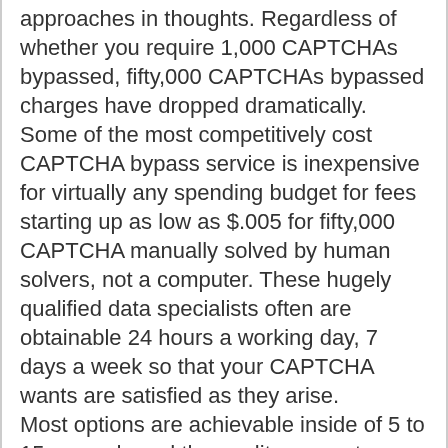approaches in thoughts. Regardless of whether you require 1,000 CAPTCHAs bypassed, fifty,000 CAPTCHAs bypassed charges have dropped dramatically. Some of the most competitively cost CAPTCHA bypass service is inexpensive for virtually any spending budget for fees starting up as low as $.005 for fifty,000 CAPTCHA manually solved by human solvers, not a computer. These hugely qualified data specialists often are obtainable 24 hours a working day, 7 days a week so that your CAPTCHA wants are satisfied as they arise. Most options are achievable inside of 5 to 15 seconds and the quality amount achievable is no much less than ninety five% precision. With costs this lower, there is no query that it is a fantasy that to gain entry to high quality CAPTCHA bypass solutions without paying out a fortune. Much more importantly, the benefit of the time individuals commit striving to determine a term or venturing to another website is priceless to your organization no matter whether it is associated with advertising or a different sort of provider supplied. Several bypass providers offer you take a look at accounts,